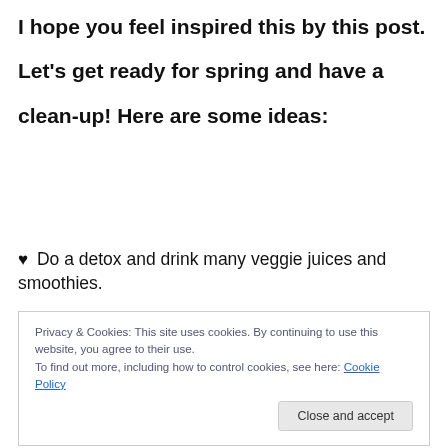I hope you feel inspired this by this post.

Let's get ready for spring and have a clean-up! Here are some ideas:
♥ Do a detox and drink many veggie juices and smoothies.
♥ Throw away any excess stuff you don't need.
Privacy & Cookies: This site uses cookies. By continuing to use this website, you agree to their use.
To find out more, including how to control cookies, see here: Cookie Policy
[Close and accept]